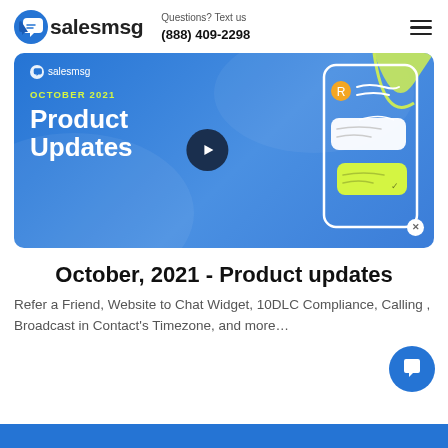salesmsg | Questions? Text us (888) 409-2298
[Figure (screenshot): Salesmsg October 2021 Product Updates promotional banner with blue gradient background, play button, and phone mockup showing chat messages]
October, 2021 - Product updates
Refer a Friend, Website to Chat Widget, 10DLC Compliance, Calling , Broadcast in Contact's Timezone, and more...